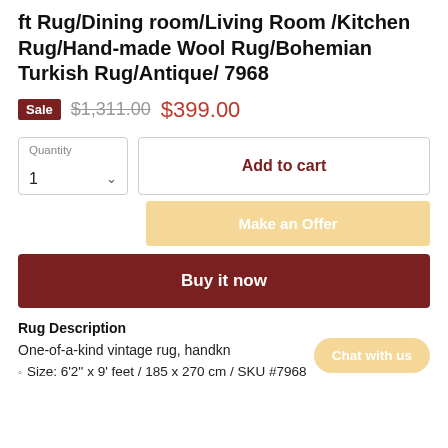ft Rug/Dining room/Living Room /Kitchen Rug/Hand-made Wool Rug/Bohemian Turkish Rug/Antique/ 7968
Sale $1,311.00 $399.00
Quantity 1
Add to cart
Make an Offer
Buy it now
Rug Description
One-of-a-kind vintage rug, handkn
Size: 6'2'' x 9' feet / 185 x 270 cm / SKU #7968